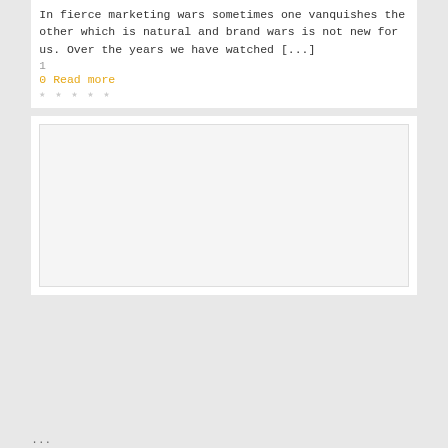In fierce marketing wars sometimes one vanquishes the other which is natural and brand wars is not new for us. Over the years we have watched [...]
1
0 Read more
★ ★ ★ ★ ★
[Figure (other): A blank white image placeholder area with light border]
...